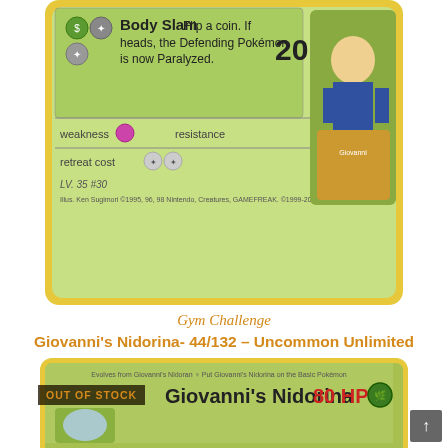[Figure (photo): Pokemon trading card - Giovanni's Nidorina 44/132 Gym Challenge set. Shows Body Slam attack (Flip a coin. If heads, the Defending Pokemon is now Paralyzed.) dealing 20 damage. Card shows weakness, resistance, retreat cost stats. LV.35 #30. Illustrated by Ken Sugimori.]
Gym Challenge
Giovanni's Nidorina- 44/132 – Uncommon Unlimited
€2.50
Read more
[Figure (photo): Bottom portion of another Giovanni's Nidorina Pokemon card showing 80 HP and the card art partially visible. OUT OF STOCK badge visible over the card.]